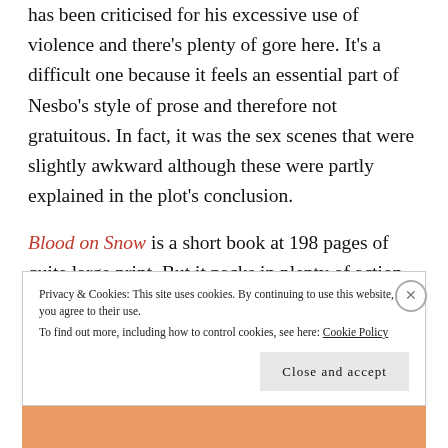has been criticised for his excessive use of violence and there's plenty of gore here. It's a difficult one because it feels an essential part of Nesbo's style of prose and therefore not gratuitous. In fact, it was the sex scenes that were slightly awkward although these were partly explained in the plot's conclusion.
Blood on Snow is a short book at 198 pages of quite large print. But it packs in plenty of action and, unlike some of Nesbo's more recent books, feels resolutely set in Oslo. The translation was by Neil Smith who, as
Privacy & Cookies: This site uses cookies. By continuing to use this website, you agree to their use.
To find out more, including how to control cookies, see here: Cookie Policy
Close and accept